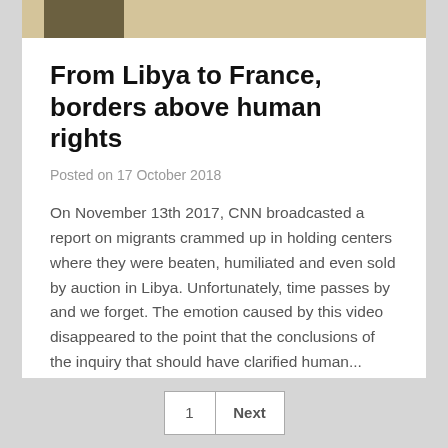[Figure (photo): Partial image strip at the top, showing a sandy/sepia-toned outdoor scene with dark elements on the left]
From Libya to France, borders above human rights
Posted on 17 October 2018
On November 13th 2017, CNN broadcasted a report on migrants crammed up in holding centers where they were beaten, humiliated and even sold by auction in Libya. Unfortunately, time passes by and we forget. The emotion caused by this video disappeared to the point that the conclusions of the inquiry that should have clarified human...
Continue Reading
1  Next